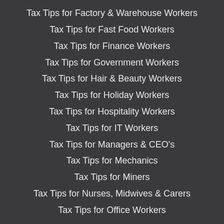Tax Tips for Factory & Warehouse Workers
Tax Tips for Fast Food Workers
Tax Tips for Finance Workers
Tax Tips for Government Workers
Tax Tips for Hair & Beauty Workers
Tax Tips for Holiday Workers
Tax Tips for Hospitality Workers
Tax Tips for IT Workers
Tax Tips for Managers & CEO's
Tax Tips for Mechanics
Tax Tips for Miners
Tax Tips for Nurses, Midwives & Carers
Tax Tips for Office Workers